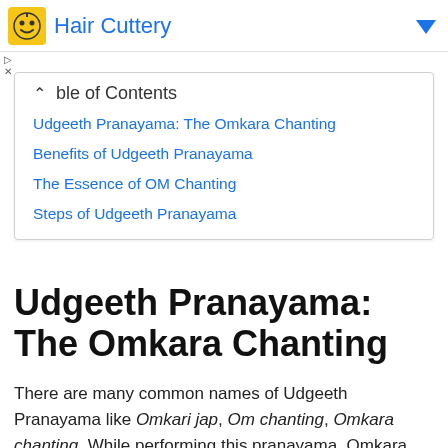[Figure (other): Advertisement banner for Hair Cuttery with logo icon and blue dropdown arrow]
Udgeeth Pranayama: The Omkara Chanting
Benefits of Udgeeth Pranayama
The Essence of OM Chanting
Steps of Udgeeth Pranayama
Udgeeth Pranayama: The Omkara Chanting
There are many common names of Udgeeth Pranayama like Omkari jap, Om chanting, Omkara chanting. While performing this pranayama, Omkara sound connects you with